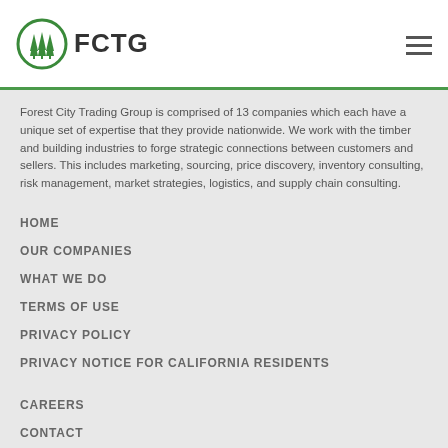FCTG
Forest City Trading Group is comprised of 13 companies which each have a unique set of expertise that they provide nationwide. We work with the timber and building industries to forge strategic connections between customers and sellers. This includes marketing, sourcing, price discovery, inventory consulting, risk management, market strategies, logistics, and supply chain consulting.
HOME
OUR COMPANIES
WHAT WE DO
TERMS OF USE
PRIVACY POLICY
PRIVACY NOTICE FOR CALIFORNIA RESIDENTS
CAREERS
CONTACT
ABOUT